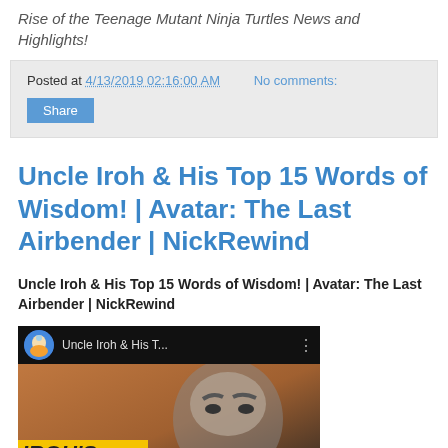Rise of the Teenage Mutant Ninja Turtles News and Highlights!
Posted at 4/13/2019 02:16:00 AM   No comments:
Share
Uncle Iroh & His Top 15 Words of Wisdom! | Avatar: The Last Airbender | NickRewind
Uncle Iroh & His Top 15 Words of Wisdom! | Avatar: The Last Airbender | NickRewind
[Figure (screenshot): YouTube video thumbnail showing Uncle Iroh & His T... with avatar circular icon and IROH'S WISDOM text overlay on dark background]